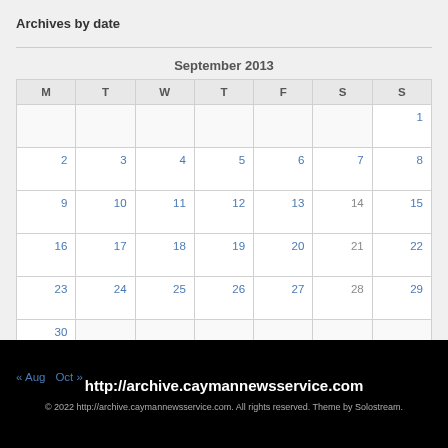Archives by date
| M | T | W | T | F | S | S |
| --- | --- | --- | --- | --- | --- | --- |
|  |  |  |  |  |  | 1 |
| 2 | 3 | 4 | 5 | 6 | 7 | 8 |
| 9 | 10 | 11 | 12 | 13 | 14 | 15 |
| 16 | 17 | 18 | 19 | 20 | 21 | 22 |
| 23 | 24 | 25 | 26 | 27 | 28 | 29 |
| 30 |  |  |  |  |  |  |
« Aug   Oct »
http://archive.caymannewsservice.com
© 2022 http://archive.caymannewsservice.com. All rights reserved. Theme by Solostream.